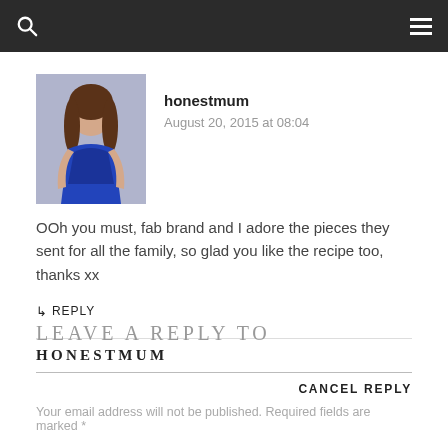honestmum
August 20, 2015 at 08:04
OOh you must, fab brand and I adore the pieces they sent for all the family, so glad you like the recipe too, thanks xx
REPLY
LEAVE A REPLY TO HONESTMUM
CANCEL REPLY
Your email address will not be published. Required fields are marked *
Comment *